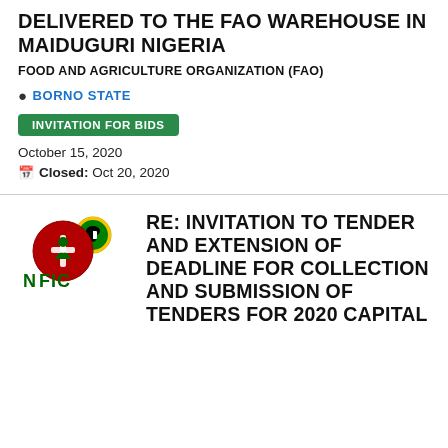DELIVERED TO THE FAO WAREHOUSE IN MAIDUGURI NIGERIA
FOOD AND AGRICULTURE ORGANIZATION (FAO)
BORNO STATE
INVITATION FOR BIDS
October 15, 2020
Closed: Oct 20, 2020
[Figure (logo): NFIC logo with Nigerian coat of arms and red/green emblem]
RE: INVITATION TO TENDER AND EXTENSION OF DEADLINE FOR COLLECTION AND SUBMISSION OF TENDERS FOR 2020 CAPITAL